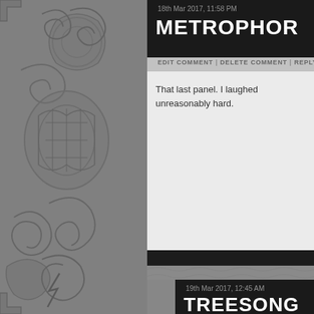[Figure (screenshot): Decorative Celtic-style pattern on left sidebar background]
18th Mar 2017, 11:58 PM
METROPHOR
EDIT COMMENT | DELETE COMMENT | REPLY
That last panel. I laughed unreasonably hard.
19th Mar 2017, 12:45 AM
TREESONG
EDIT COMMENT | DELETE COMMENT | REPL
That was so mean....
19th Mar 2017, 12:26 AM
BLORG
EDIT COMMENT | DELETE COMMENT | REPLY
She really shouldn't keep her finger on the trigger like that, shou firearms safety.